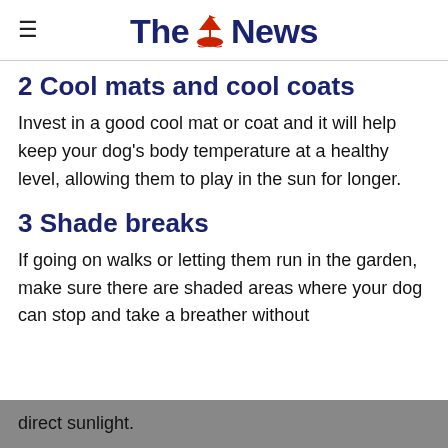The News
2 Cool mats and cool coats
Invest in a good cool mat or coat and it will help keep your dog's body temperature at a healthy level, allowing them to play in the sun for longer.
3 Shade breaks
If going on walks or letting them run in the garden, make sure there are shaded areas where your dog can stop and take a breather without direct sunlight.